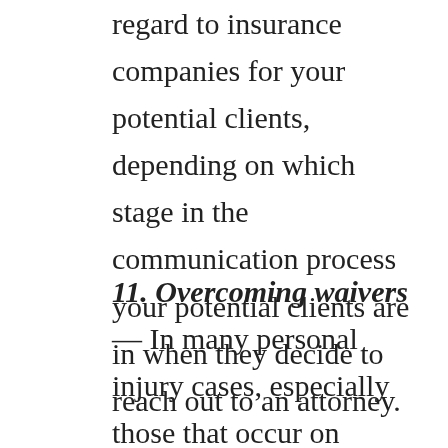regard to insurance companies for your potential clients, depending on which stage in the communication process your potential clients are in when they decide to reach out to an attorney.
11. Overcoming waivers — In many personal injury cases, especially those that occur on commercial property or at the hands of a health professional, your potential clients may have signed a waiver before they were injured. They may or may not be aware that waivers can be